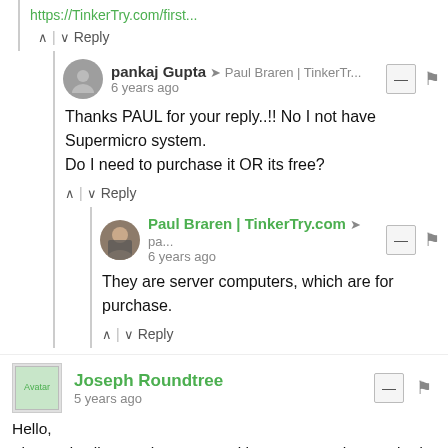https://TinkerTry.com/first...
^ | v Reply
pankaj Gupta → Paul Braren | TinkerTr... 6 years ago
Thanks PAUL for your reply..!! No I not have Supermicro system.
Do I need to purchase it OR its free?
^ | v Reply
Paul Braren | TinkerTry.com → pa... 6 years ago
They are server computers, which are for purchase.
^ | v Reply
Joseph Roundtree 5 years ago
Hello,
The 60 day license that comes with vCenter 6.5 has expired and I would like to install my EVALExperience license to continue using the product. My difficulty is that in my vCenter I do not have displayed the "Administration" section